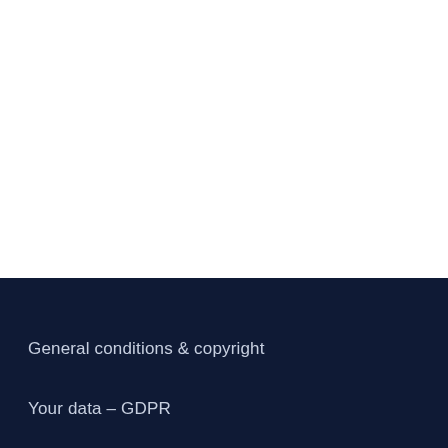General conditions & copyright
Your data – GDPR